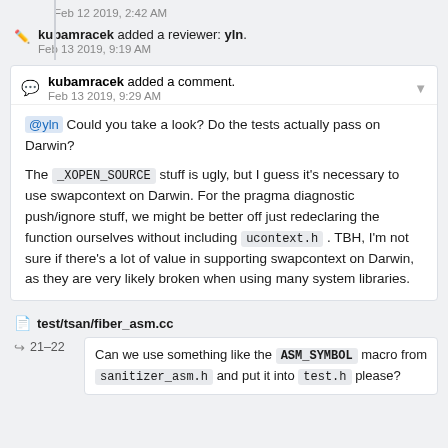Feb 12 2019, 2:42 AM
kubamracek added a reviewer: yln.
Feb 13 2019, 9:19 AM
kubamracek added a comment.
Feb 13 2019, 9:29 AM
@yln Could you take a look? Do the tests actually pass on Darwin?

The _XOPEN_SOURCE stuff is ugly, but I guess it's necessary to use swapcontext on Darwin. For the pragma diagnostic push/ignore stuff, we might be better off just redeclaring the function ourselves without including ucontext.h . TBH, I'm not sure if there's a lot of value in supporting swapcontext on Darwin, as they are very likely broken when using many system libraries.
test/tsan/fiber_asm.cc
21–22
Can we use something like the ASM_SYMBOL macro from sanitizer_asm.h and put it into test.h please?